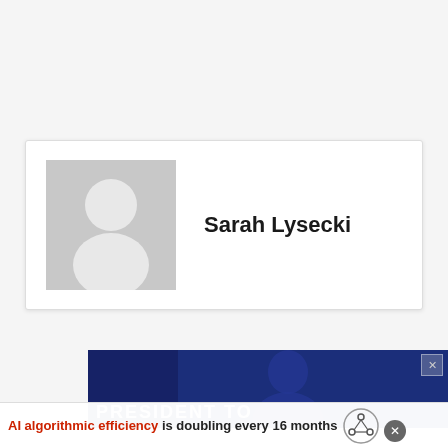[Figure (illustration): Profile card with a gray placeholder avatar silhouette (head and shoulders) on the left, and the name 'Sarah Lysecki' in bold on the right]
Sarah Lysecki
[Figure (photo): Dark blue advertisement banner with large white bold text 'PRESIDENT TO' partially visible, a silhouette figure in the background, and an X close button in the top right]
AI algorithmic efficiency is doubling every 16 months